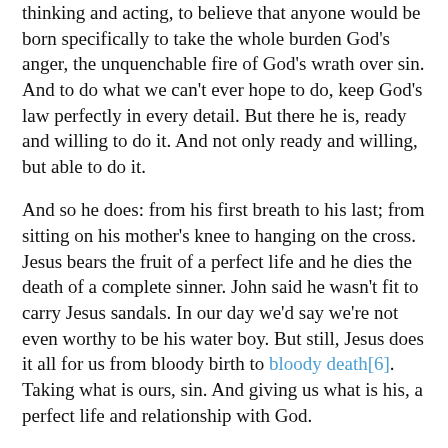thinking and acting, to believe that anyone would be born specifically to take the whole burden God's anger, the unquenchable fire of God's wrath over sin. And to do what we can't ever hope to do, keep God's law perfectly in every detail. But there he is, ready and willing to do it. And not only ready and willing, but able to do it.
And so he does: from his first breath to his last; from sitting on his mother's knee to hanging on the cross. Jesus bears the fruit of a perfect life and he dies the death of a complete sinner. John said he wasn't fit to carry Jesus sandals. In our day we'd say we're not even worthy to be his water boy. But still, Jesus does it all for us from bloody birth to bloody death[6]. Taking what is ours, sin. And giving us what is his, a perfect life and relationship with God.
So, as John the Baptist would say, Prepare the way of the Lord; or like the hymn says:
Then cleansed be every life from sin;
Make straight the way for God within,
And let us all our hearts prepare
For Christ to come and enter there.